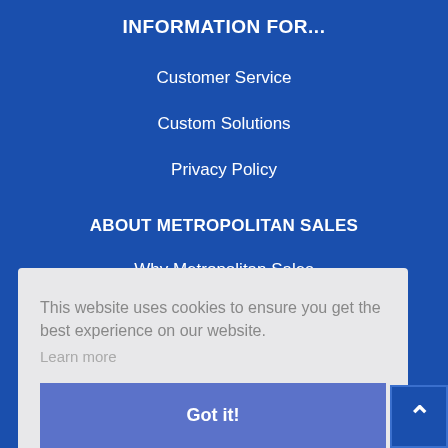INFORMATION FOR...
Customer Service
Custom Solutions
Privacy Policy
ABOUT METROPOLITAN SALES
Why Metropolitan Sales
This website uses cookies to ensure you get the best experience on our website.
Learn more
Got it!